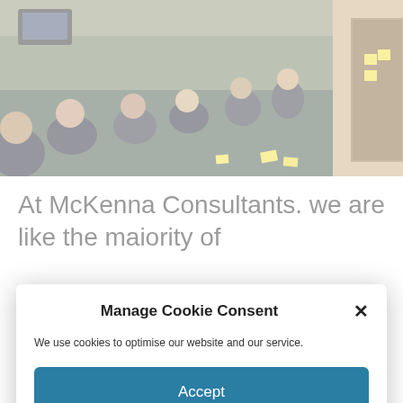[Figure (photo): People sitting in a room on the floor in a circle, appearing to be in a group meeting or workshop setting. Dark carpet, light-colored walls, yellow sticky notes visible on a door.]
At McKenna Consultants. we are like the maiority of
Manage Cookie Consent
We use cookies to optimise our website and our service.
Accept
Deny
Preferences
Privacy Policy   Privacy Policy